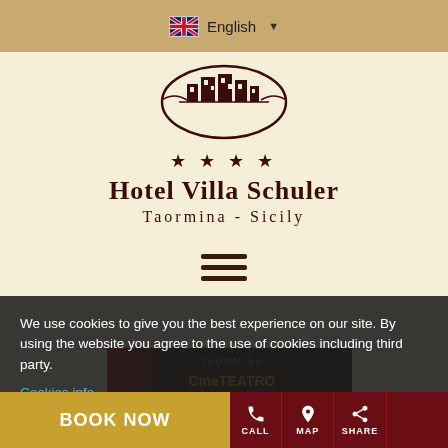English
[Figure (logo): Hotel Villa Schuler oval logo with building illustration, four stars, hotel name and location]
[Figure (other): Hamburger/menu icon — three horizontal dark brown bars]
[Figure (photo): Partial view of a dark book cover or poster with text 'CineTEATRO' and Italian text including 'da Maggio al Ottobre', 'Taormina' at top]
We use cookies to give you the best experience on our site. By using the website you agree to the use of cookies including third party.
Cookies info
BOOK NOW
CALL
MAP
SHARE